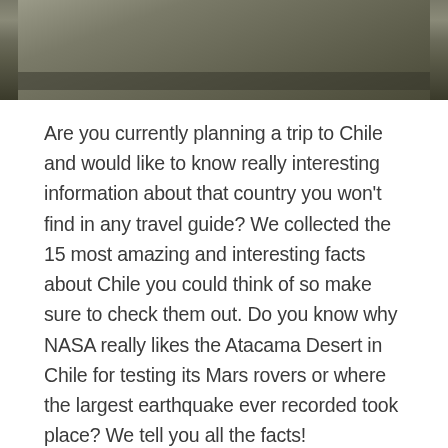[Figure (photo): Photograph showing stone ruins or rocky terrain, cropped at the top of the page]
Are you currently planning a trip to Chile and would like to know really interesting information about that country you won't find in any travel guide? We collected the 15 most amazing and interesting facts about Chile you could think of so make sure to check them out. Do you know why NASA really likes the Atacama Desert in Chile for testing its Mars rovers or where the largest earthquake ever recorded took place? We tell you all the facts!